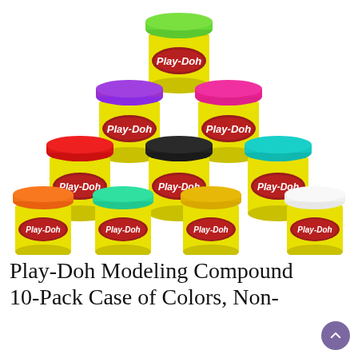[Figure (photo): Photo of 10 Play-Doh modeling compound cans arranged in a pyramid: 1 on top (green lid), 2 in second row (purple and pink lids), 3 in third row (red, black, teal lids), 4 in bottom row (orange, teal, yellow/gold, white lids). All cans are yellow with red Play-Doh logo labels.]
Play-Doh Modeling Compound 10-Pack Case of Colors, Non-